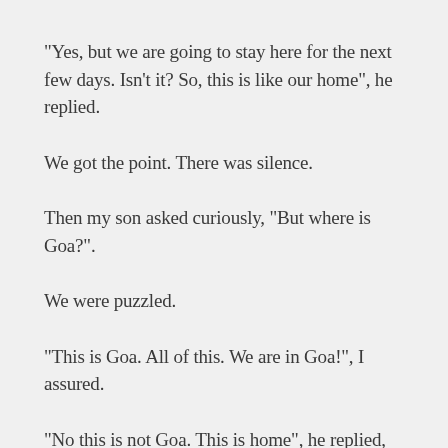“Yes, but we are going to stay here for the next few days. Isn’t it? So, this is like our home”, he replied.
We got the point. There was silence.
Then my son asked curiously, “But where is Goa?”.
We were puzzled.
“This is Goa. All of this. We are in Goa!”, I assured.
“No this is not Goa. This is home”, he replied, visibly annoyed.